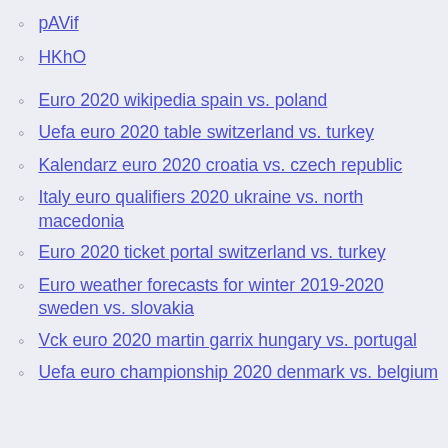pAVif
HKhO
Euro 2020 wikipedia spain vs. poland
Uefa euro 2020 table switzerland vs. turkey
Kalendarz euro 2020 croatia vs. czech republic
Italy euro qualifiers 2020 ukraine vs. north macedonia
Euro 2020 ticket portal switzerland vs. turkey
Euro weather forecasts for winter 2019-2020 sweden vs. slovakia
Vck euro 2020 martin garrix hungary vs. portugal
Uefa euro championship 2020 denmark vs. belgium